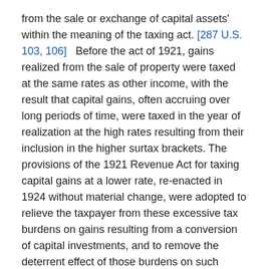from the sale or exchange of capital assets' within the meaning of the taxing act. [287 U.S. 103, 106]   Before the act of 1921, gains realized from the sale of property were taxed at the same rates as other income, with the result that capital gains, often accruing over long periods of time, were taxed in the year of realization at the high rates resulting from their inclusion in the higher surtax brackets. The provisions of the 1921 Revenue Act for taxing capital gains at a lower rate, re-enacted in 1924 without material change, were adopted to relieve the taxpayer from these excessive tax burdens on gains resulting from a conversion of capital investments, and to remove the deterrent effect of those burdens on such conversions. House Report No. 350, Ways and Means Committee, 67th Cong., 1st Sess. on the Revenue Bill of 1921, p. 10; see Alexander v. King (C.C.A.) 46 F.(2d) 235, 74 A.L.R. 174.
It is an incident of every oil and gas lease, where production